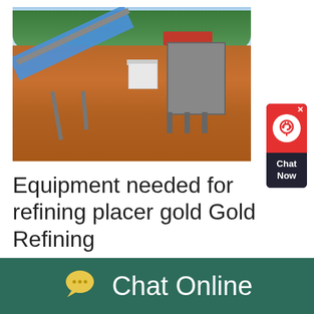[Figure (photo): Gold mining site with a large conveyor belt system and a crusher machine on red/brown earth with green trees in background]
Equipment needed for refining placer gold Gold Refining
[Figure (other): Chat Now widget button with red background and headset icon]
Chat Online